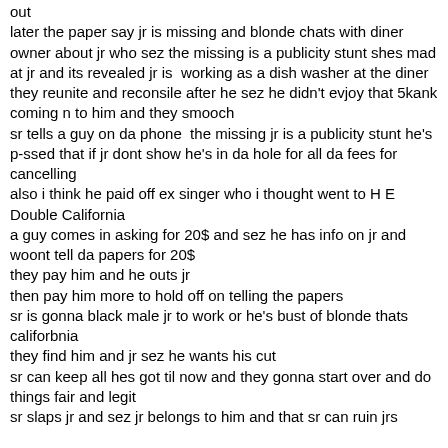out
later the paper say jr is missing and blonde chats with diner owner about jr who sez the missing is a publicity stunt shes mad at jr and its revealed jr is  working as a dish washer at the diner
they reunite and reconsile after he sez he didn't evjoy that 5kank coming n to him and they smooch
sr tells a guy on da phone  the missing jr is a publicity stunt he's p-ssed that if jr dont show he's in da hole for all da fees for cancelling
also i think he paid off ex singer who i thought went to H E Double California
a guy comes in asking for 20$ and sez he has info on jr and woont tell da papers for 20$
they pay him and he outs jr
then pay him more to hold off on telling the papers
sr is gonna black male jr to work or he's bust of blonde thats califorbnia
they find him and jr sez he wants his cut
sr can keep all hes got til now and they gonna start over and do things fair and legit
sr slaps jr and sez jr belongs to him and that sr can ruin jrs